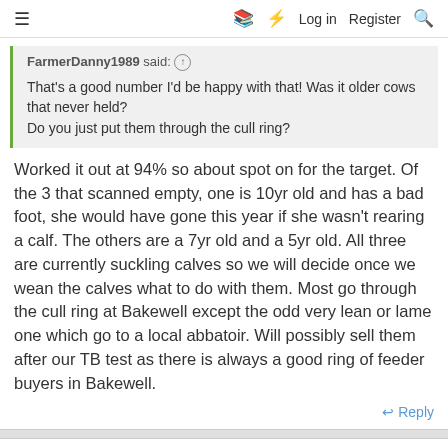≡  □  ⚡  Log in  Register  🔍
FarmerDanny1989 said: ↑
That's a good number I'd be happy with that! Was it older cows that never held?
Do you just put them through the cull ring?
Worked it out at 94% so about spot on for the target. Of the 3 that scanned empty, one is 10yr old and has a bad foot, she would have gone this year if she wasn't rearing a calf. The others are a 7yr old and a 5yr old. All three are currently suckling calves so we will decide once we wean the calves what to do with them. Most go through the cull ring at Bakewell except the odd very lean or lame one which go to a local abbatoir. Will possibly sell them after our TB test as there is always a good ring of feeder buyers in Bakewell.
↩ Reply
FarmerDanny1989
Member  Livestock Farmer